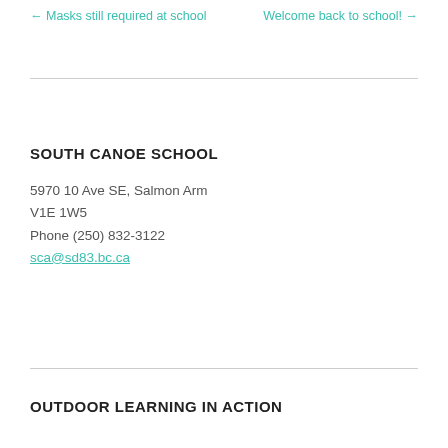← Masks still required at school    Welcome back to school! →
SOUTH CANOE SCHOOL
5970 10 Ave SE, Salmon Arm
V1E 1W5
Phone (250) 832-3122
sca@sd83.bc.ca
OUTDOOR LEARNING IN ACTION